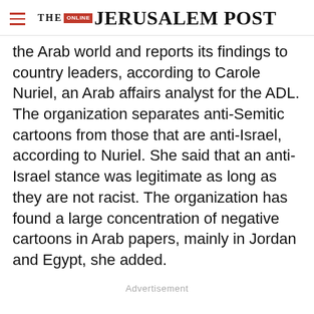THE JERUSALEM POST
the Arab world and reports its findings to country leaders, according to Carole Nuriel, an Arab affairs analyst for the ADL. The organization separates anti-Semitic cartoons from those that are anti-Israel, according to Nuriel. She said that an anti-Israel stance was legitimate as long as they are not racist. The organization has found a large concentration of negative cartoons in Arab papers, mainly in Jordan and Egypt, she added.
Advertisement